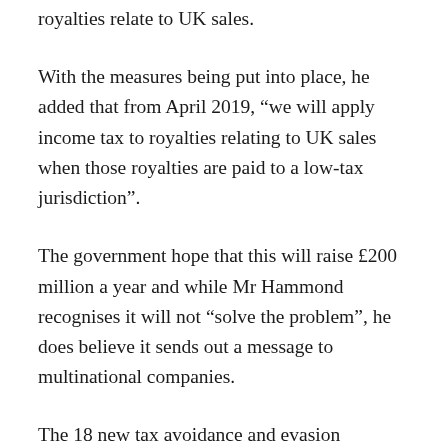royalties relate to UK sales.
With the measures being put into place, he added that from April 2019, “we will apply income tax to royalties relating to UK sales when those royalties are paid to a low-tax jurisdiction”.
The government hope that this will raise £200 million a year and while Mr Hammond recognises it will not “solve the problem”, he does believe it sends out a message to multinational companies.
The 18 new tax avoidance and evasion measures that the government introduced in an attempt to crack down on large multinational companies not paying a fair amount of tax.